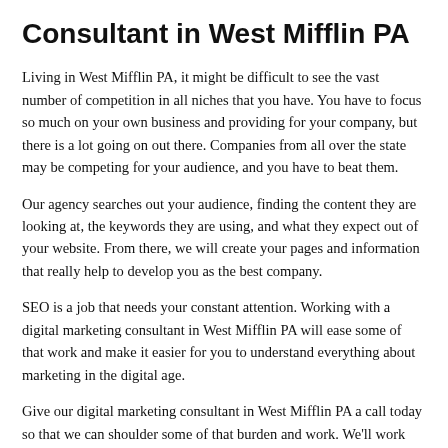Consultant in West Mifflin PA
Living in West Mifflin PA, it might be difficult to see the vast number of competition in all niches that you have. You have to focus so much on your own business and providing for your company, but there is a lot going on out there. Companies from all over the state may be competing for your audience, and you have to beat them.
Our agency searches out your audience, finding the content they are looking at, the keywords they are using, and what they expect out of your website. From there, we will create your pages and information that really help to develop you as the best company.
SEO is a job that needs your constant attention. Working with a digital marketing consultant in West Mifflin PA will ease some of that work and make it easier for you to understand everything about marketing in the digital age.
Give our digital marketing consultant in West Mifflin PA a call today so that we can shoulder some of that burden and work. We'll work extremely hard to keep your page on the top of the